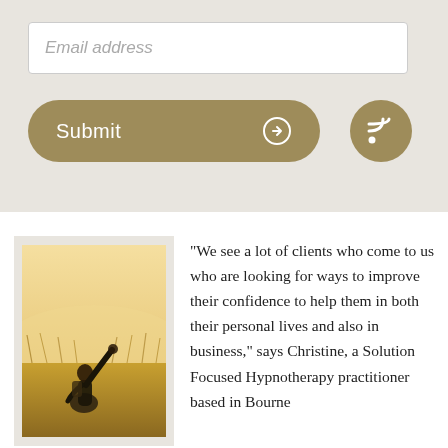Email address
[Figure (illustration): Submit button with arrow icon and RSS feed icon circle, on a tan/khaki background]
[Figure (photo): Person sitting on a hilltop with arm raised toward the sky, golden grass in background]
“We see a lot of clients who come to us who are looking for ways to improve their confidence to help them in both their personal lives and also in business,” says Christine, a Solution Focused Hypnotherapy practitioner based in Bourne